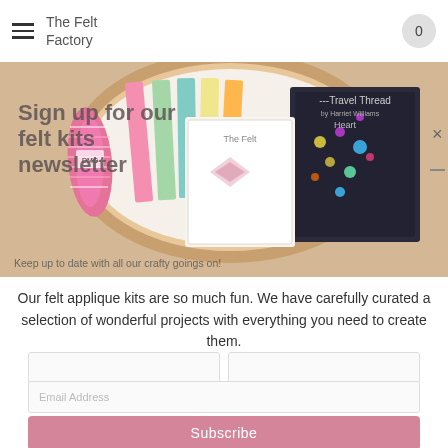The Felt Factory
[Figure (photo): Embroidery hoop with colorful felt sheets, thread skeins, and craft books including 'Travel Thread Heart' and 'The Felt Kits' visible inside the hoop, on a wooden surface]
Sign up for our felt kits newsletter
Keep up to date with all our crafty goings on!
Our felt applique kits are so much fun. We have carefully curated a selection of wonderful projects with everything you need to create them.
Email Address
Subscribe
[Figure (photo): Bottom section showing felt flower shape (green) on floral fabric background on the left, and colorful buttons (pink, yellow, green) on floral fabric on the right]